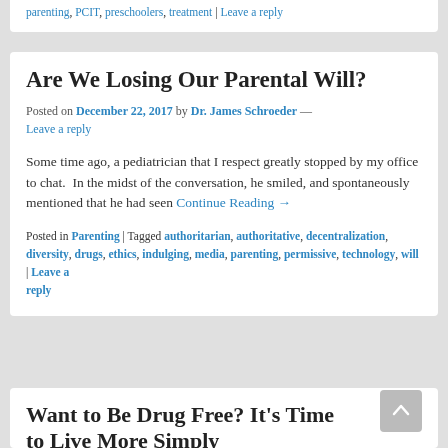parenting, PCIT, preschoolers, treatment | Leave a reply
Are We Losing Our Parental Will?
Posted on December 22, 2017 by Dr. James Schroeder — Leave a reply
Some time ago, a pediatrician that I respect greatly stopped by my office to chat.  In the midst of the conversation, he smiled, and spontaneously mentioned that he had seen Continue Reading →
Posted in Parenting | Tagged authoritarian, authoritative, decentralization, diversity, drugs, ethics, indulging, media, parenting, permissive, technology, will | Leave a reply
Want to Be Drug Free? It's Time to Live More Simply